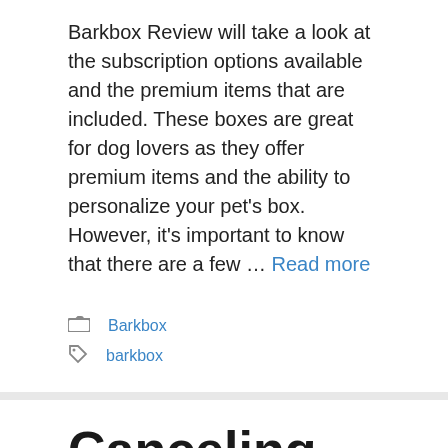Barkbox Review will take a look at the subscription options available and the premium items that are included. These boxes are great for dog lovers as they offer premium items and the ability to personalize your pet's box. However, it's important to know that there are a few … Read more
Categories: Barkbox
Tags: barkbox
Canceling Barkbox Before Subscription Is